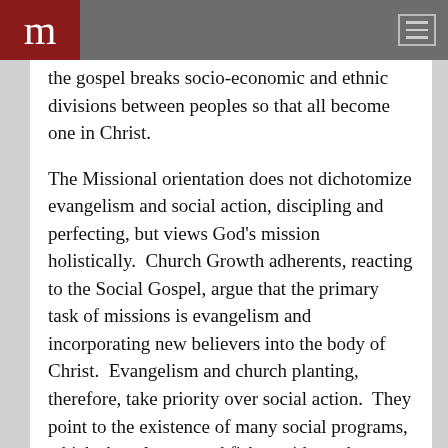m
the gospel breaks socio-economic and ethnic divisions between peoples so that all become one in Christ.
The Missional orientation does not dichotomize evangelism and social action, discipling and perfecting, but views God's mission holistically.  Church Growth adherents, reacting to the Social Gospel, argue that the primary task of missions is evangelism and incorporating new believers into the body of Christ.  Evangelism and church planting, therefore, take priority over social action.  They point to the existence of many social programs, which share loaves and fishes without the gospel.